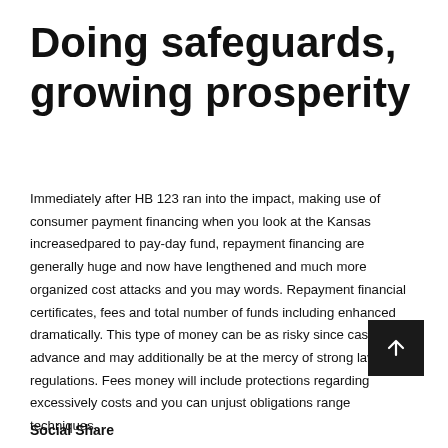Doing safeguards, growing prosperity
Immediately after HB 123 ran into the impact, making use of consumer payment financing when you look at the Kansas increasedpared to pay-day fund, repayment financing are generally huge and now have lengthened and much more organized cost attacks and you may words. Repayment financial certificates, fees and total number of funds including enhanced dramatically. This type of money can be as risky since cash advance and may additionally be at the mercy of strong laws and regulations. Fees money will include protections regarding excessively costs and you can unjust obligations range techniques.
Social Share